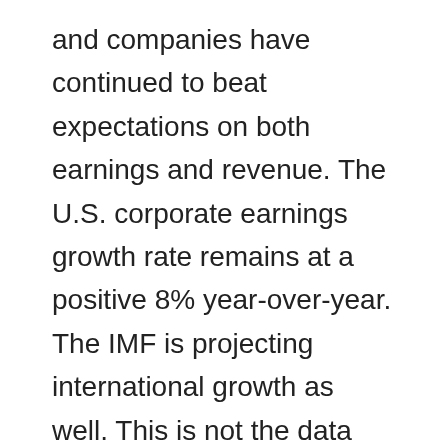and companies have continued to beat expectations on both earnings and revenue. The U.S. corporate earnings growth rate remains at a positive 8% year-over-year. The IMF is projecting international growth as well. This is not the data that bear markets are made of. That is not to say that a worldwide pandemic can't change these positive numbers going forward, but until they do, the bull is still in the pasture. We have had an incredible